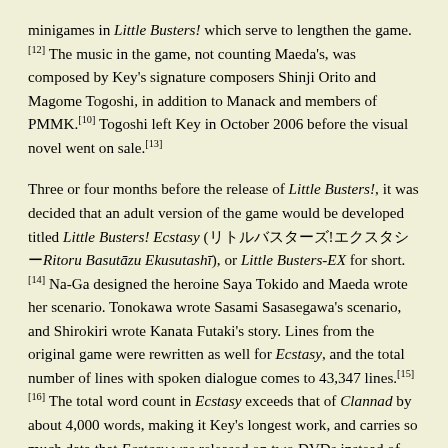minigames in Little Busters! which serve to lengthen the game. [12] The music in the game, not counting Maeda's, was composed by Key's signature composers Shinji Orito and Magome Togoshi, in addition to Manack and members of PMMK.[10] Togoshi left Key in October 2006 before the visual novel went on sale.[13]
Three or four months before the release of Little Busters!, it was decided that an adult version of the game would be developed titled Little Busters! Ecstasy (リトルバスターズ!エクスタシー Ritoru Basutāzu Ekusutashī), or Little Busters-EX for short.[14] Na-Ga designed the heroine Saya Tokido and Maeda wrote her scenario. Tonokawa wrote Sasami Sasasegawa's scenario, and Shirokiri wrote Kanata Futaki's story. Lines from the original game were rewritten as well for Ecstasy, and the total number of lines with spoken dialogue comes to 43,347 lines.[15][16] The total word count in Ecstasy exceeds that of Clannad by about 4,000 words, making it Key's longest work, and carries so much data that Ecstasy was released on two DVDs instead of one for the original release.[17][18]